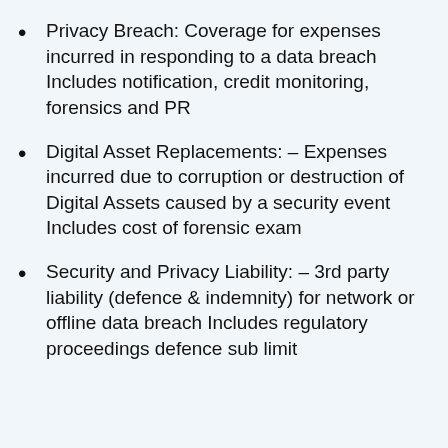Privacy Breach: Coverage for expenses incurred in responding to a data breach Includes notification, credit monitoring, forensics and PR
Digital Asset Replacements: – Expenses incurred due to corruption or destruction of Digital Assets caused by a security event Includes cost of forensic exam
Security and Privacy Liability: – 3rd party liability (defence & indemnity) for network or offline data breach Includes regulatory proceedings defence sub limit